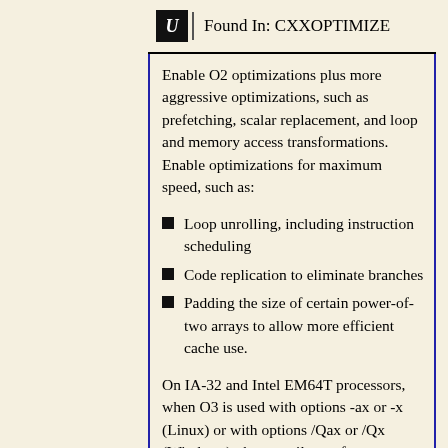Found In: CXXOPTIMIZE
Enable O2 optimizations plus more aggressive optimizations, such as prefetching, scalar replacement, and loop and memory access transformations. Enable optimizations for maximum speed, such as:
Loop unrolling, including instruction scheduling
Code replication to eliminate branches
Padding the size of certain power-of-two arrays to allow more efficient cache use.
On IA-32 and Intel EM64T processors, when O3 is used with options -ax or -x (Linux) or with options /Qax or /Qx (Windows), the compiler performs more aggressive data dependency analysis than for O2, which may result in longer